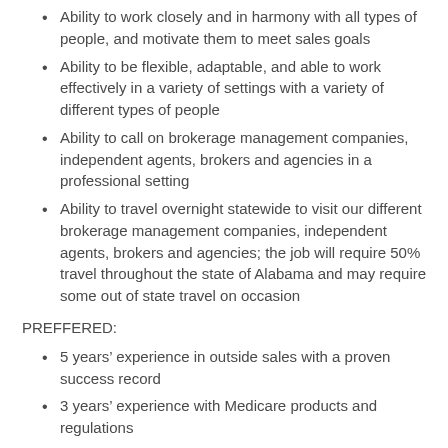Ability to work closely and in harmony with all types of people, and motivate them to meet sales goals
Ability to be flexible, adaptable, and able to work effectively in a variety of settings with a variety of different types of people
Ability to call on brokerage management companies, independent agents, brokers and agencies in a professional setting
Ability to travel overnight statewide to visit our different brokerage management companies, independent agents, brokers and agencies; the job will require 50% travel throughout the state of Alabama and may require some out of state travel on occasion
PREFFERED:
5 years’ experience in outside sales with a proven success record
3 years’ experience with Medicare products and regulations
3 years’ experience working as a broker, independent